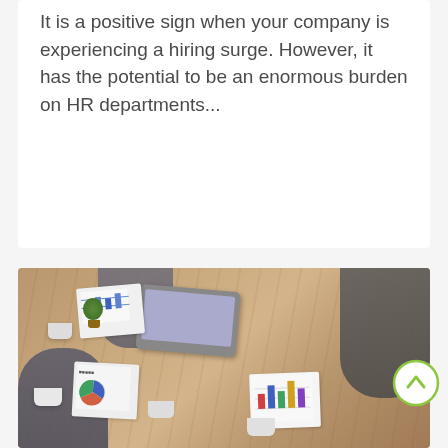It is a positive sign when your company is experiencing a hiring surge. However, it has the potential to be an enormous burden on HR departments...
[Figure (photo): Overhead/aerial view of business professionals sitting around a wooden conference table with laptops, papers with charts, coffee cups, and other office items. A scroll-to-top button with a green arrow circle is overlaid on the right side.]